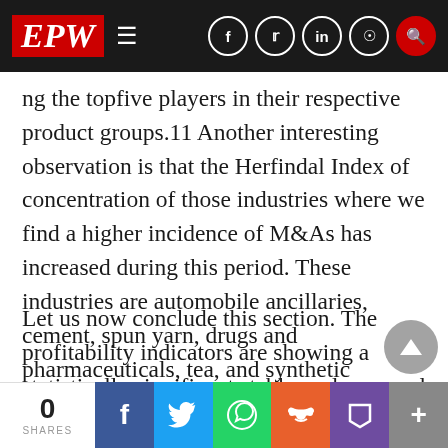EPW
ng the topfive players in their respective product groups.11 Another interesting observation is that the Herfindal Index of concentration of those industries where we find a higher incidence of M&As has increased during this period. These industries are automobile ancillaries, cement, spun yarn, drugs and pharmaceuticals, tea, and synthetic detergents.
Let us now conclude this section. The profitability indicators are showing a statistically significant stable or downward trend during the post-merger period. Our analysis has further shown that the shareholders of acquiring firms were paid bette